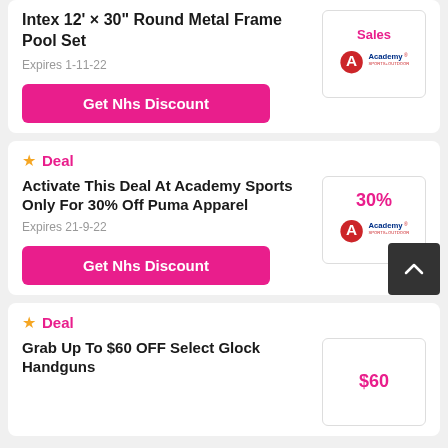Intex 12' × 30" Round Metal Frame Pool Set
Expires 1-11-22
Get Nhs Discount
Sales
Deal
Activate This Deal At Academy Sports Only For 30% Off Puma Apparel
Expires 21-9-22
Get Nhs Discount
30%
Deal
Grab Up To $60 OFF Select Glock Handguns
$60